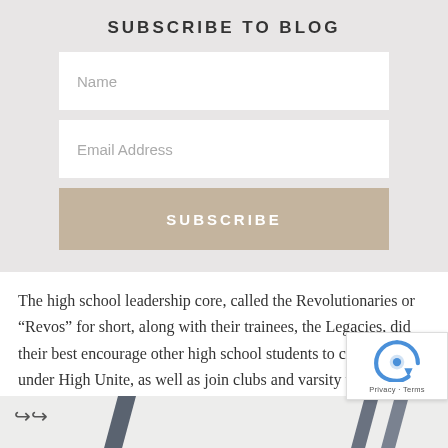SUBSCRIBE TO BLOG
[Figure (screenshot): Web form with Name field, Email Address field, and SUBSCRIBE button on a light grey background]
The high school leadership core, called the Revolutionaries or “Revos” for short, along with their trainees, the Legacies, did their best encourage other high school students to come together under High Unite, as well as join clubs and varsity teams.
[Figure (photo): Partial image strip at the bottom of the page showing diagonal lines/objects on a light background; also shows a reCAPTCHA badge in the bottom-right corner]